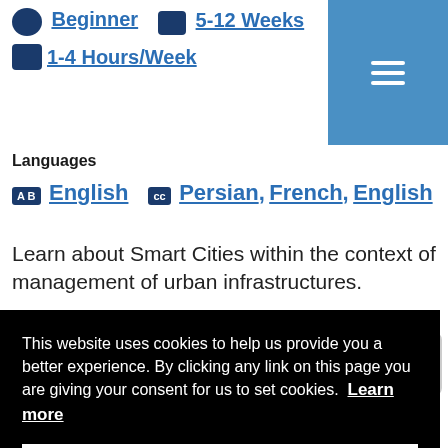Beginner   5-12 Weeks   1-4 Hours/Week
Languages
English   Persian, French, English
Learn about Smart Cities within the context of management of urban infrastructures.
This website uses cookies to help us provide you a better experience. By clicking any link on this page you are giving your consent for us to set cookies.  Learn more
Got it!
Smart Cities, Urban Infrastructures